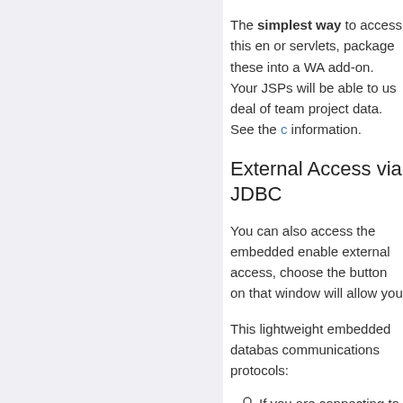The simplest way to access this en or servlets, package these into a WA add-on. Your JSPs will be able to us deal of team project data. See the c information.
External Access via JDBC
You can also access the embedded enable external access, choose the button on that window will allow you
This lightweight embedded databas communications protocols:
If you are connecting to the dat need a copy of the H2 database preferences window.
If you are connecting from a no also connect using the Postgre drivers are available for many p Perl, Python, Ruby, Tcl, and OD on the preferences window.